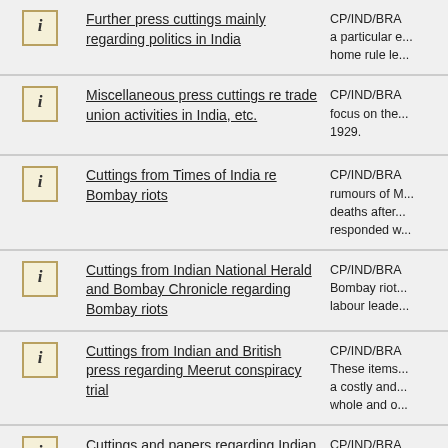|  | Title | Reference/Description |
| --- | --- | --- |
| [i] | Further press cuttings mainly regarding politics in India | CP/IND/BRA... a particular e... home rule le... |
| [i] | Miscellaneous press cuttings re trade union activities in India, etc. | CP/IND/BRA... focus on the... 1929. |
| [i] | Cuttings from Times of India re Bombay riots | CP/IND/BRA... rumours of M... deaths after... responded w... |
| [i] | Cuttings from Indian National Herald and Bombay Chronicle regarding Bombay riots | CP/IND/BRA... Bombay riot... labour leade... |
| [i] | Cuttings from Indian and British press regarding Meerut conspiracy trial | CP/IND/BRA... These items... a costly and... whole and o... |
| [i] | Cuttings and papers regarding Indian politics | CP/IND/BRA... Indian Leagu... Indian stud... |